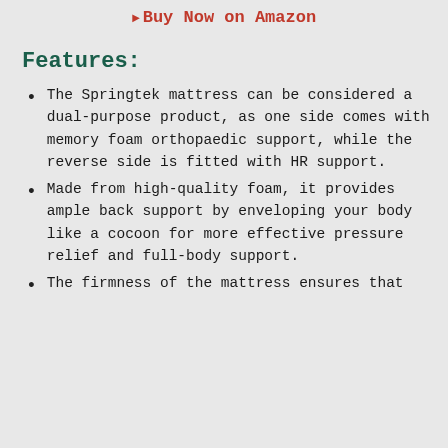▶ Buy Now on Amazon
Features:
The Springtek mattress can be considered a dual-purpose product, as one side comes with memory foam orthopaedic support, while the reverse side is fitted with HR support.
Made from high-quality foam, it provides ample back support by enveloping your body like a cocoon for more effective pressure relief and full-body support.
The firmness of the mattress ensures that